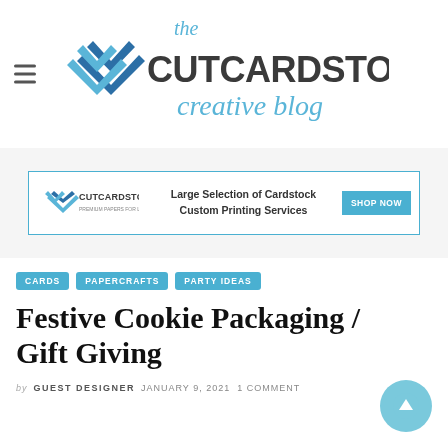[Figure (logo): The CutCardStock Creative Blog logo with double chevron icon in blue and dark grey bold sans-serif text with cursive 'creative blog' subtitle]
[Figure (infographic): CutCardStock advertisement banner: logo on left, text 'Large Selection of Cardstock Custom Printing Services' in center, 'SHOP NOW' blue button on right, bordered with blue outline]
CARDS
PAPERCRAFTS
PARTY IDEAS
Festive Cookie Packaging / Gift Giving
by GUEST DESIGNER   JANUARY 9, 2021  1 COMMENT